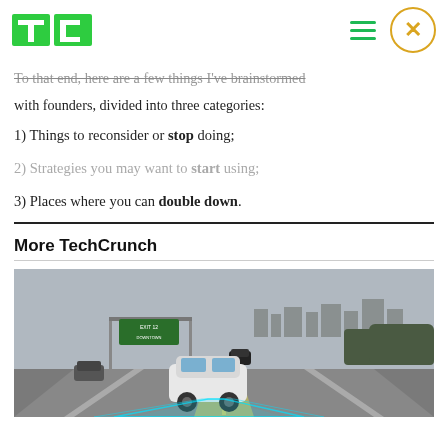TechCrunch
To that end, here are a few things I've brainstormed with founders, divided into three categories:
1) Things to reconsider or stop doing;
2) Strategies you may want to start using;
3) Places where you can double down.
More TechCrunch
[Figure (photo): A white Tesla car driving on a highway with blue autonomous driving sensor lines emanating from the front, other cars on the road, highway signs overhead, trees and city buildings in the background, under a grey sky.]